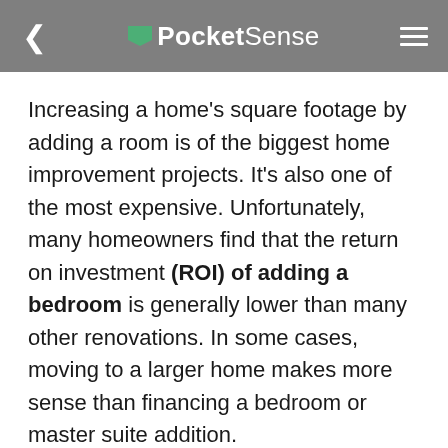PocketSense
Increasing a home's square footage by adding a room is of the biggest home improvement projects. It's also one of the most expensive. Unfortunately, many homeowners find that the return on investment (ROI) of adding a bedroom is generally lower than many other renovations. In some cases, moving to a larger home makes more sense than financing a bedroom or master suite addition.